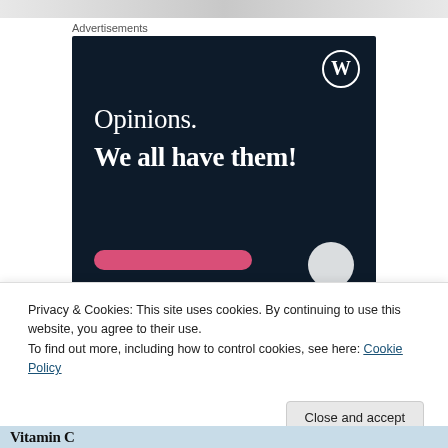[Figure (screenshot): Top strip showing partial image at very top of page]
Advertisements
[Figure (illustration): WordPress advertisement banner with dark navy background, WordPress logo (W in circle), text 'Opinions. We all have them!', a pink button, and a white circle in bottom right]
Privacy & Cookies: This site uses cookies. By continuing to use this website, you agree to their use.
To find out more, including how to control cookies, see here: Cookie Policy
Close and accept
[Figure (screenshot): Bottom strip showing partial image with 'Vitamin C' text]